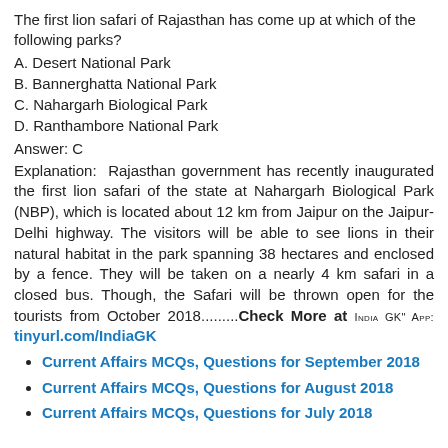The first lion safari of Rajasthan has come up at which of the following parks?
A. Desert National Park
B. Bannerghatta National Park
C. Nahargarh Biological Park
D. Ranthambore National Park
Answer: C
Explanation: Rajasthan government has recently inaugurated the first lion safari of the state at Nahargarh Biological Park (NBP), which is located about 12 km from Jaipur on the Jaipur-Delhi highway. The visitors will be able to see lions in their natural habitat in the park spanning 38 hectares and enclosed by a fence. They will be taken on a nearly 4 km safari in a closed bus. Though, the Safari will be thrown open for the tourists from October 2018.........Check More at INDIA GK" App: tinyurl.com/IndiaGK
Current Affairs MCQs, Questions for September 2018
Current Affairs MCQs, Questions for August 2018
Current Affairs MCQs, Questions for July 2018